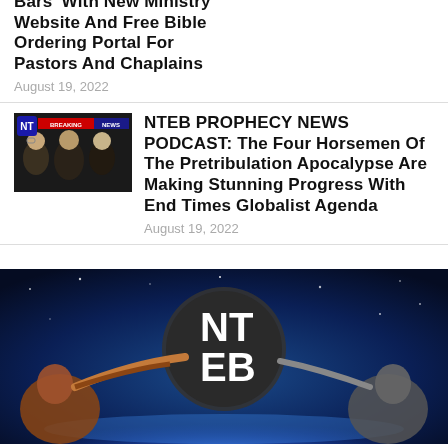Bars' With New Ministry Website And Free Bible Ordering Portal For Pastors And Chaplains
August 19, 2022
[Figure (photo): NTEB Breaking News podcast thumbnail showing news anchors]
NTEB PROPHECY NEWS PODCAST: The Four Horsemen Of The Pretribulation Apocalypse Are Making Stunning Progress With End Times Globalist Agenda
August 19, 2022
[Figure (logo): NTEB logo on dark blue space background with figure blowing a horn]